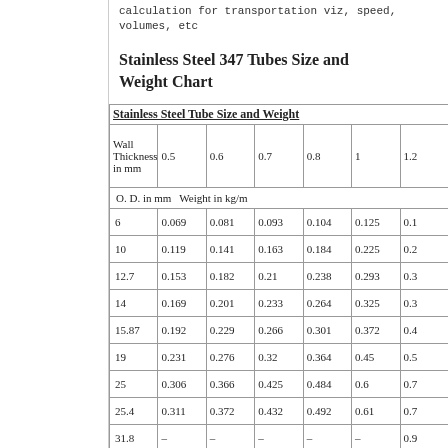calculation for transportation viz, speed, volumes, etc
Stainless Steel 347 Tubes Size and Weight Chart
| Stainless Steel Tube Size and Weight |
| --- |
| O. D. in mm Weight in kg/m |  |  |  |  |  |  |
| 6 | 0.069 | 0.081 | 0.093 | 0.104 | 0.125 | 0.1... |
| 10 | 0.119 | 0.141 | 0.163 | 0.184 | 0.225 | 0.2... |
| 12.7 | 0.153 | 0.182 | 0.21 | 0.238 | 0.293 | 0.3... |
| 14 | 0.169 | 0.201 | 0.233 | 0.264 | 0.325 | 0.3... |
| 15.87 | 0.192 | 0.229 | 0.266 | 0.301 | 0.372 | 0.4... |
| 19 | 0.231 | 0.276 | 0.32 | 0.364 | 0.45 | 0.5... |
| 25 | 0.306 | 0.366 | 0.425 | 0.484 | 0.6 | 0.7... |
| 25.4 | 0.311 | 0.372 | 0.432 | 0.492 | 0.61 | 0.7... |
| 31.8 | – | – | – | – | – | 0.9... |
| 38 | – | – | – | – | – | 1.10... |